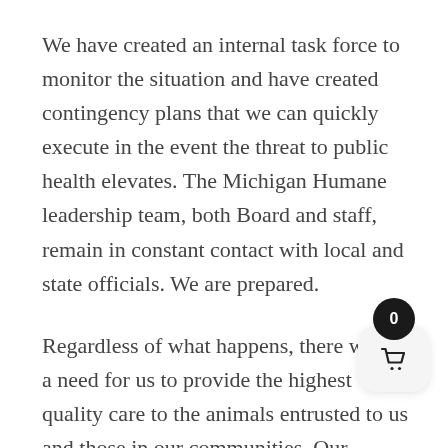We have created an internal task force to monitor the situation and have created contingency plans that we can quickly execute in the event the threat to public health elevates. The Michigan Humane leadership team, both Board and staff, remain in constant contact with local and state officials. We are prepared.
Regardless of what happens, there will be a need for us to provide the highest quality care to the animals entrusted to us and those in our communities. Our organization will be responsible while continuing to save the...